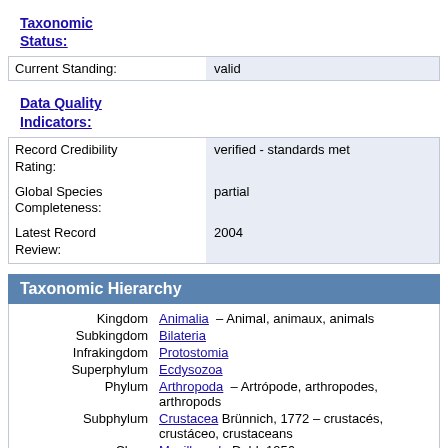Taxonomic Status:
| Field | Value |
| --- | --- |
| Current Standing: | valid |
Data Quality Indicators:
| Field | Value |
| --- | --- |
| Record Credibility Rating: | verified - standards met |
| Global Species Completeness: | partial |
| Latest Record Review: | 2004 |
Taxonomic Hierarchy
| Rank | Taxon |
| --- | --- |
| Kingdom | Animalia – Animal, animaux, animals |
| Subkingdom | Bilateria |
| Infrakingdom | Protostomia |
| Superphylum | Ecdysozoa |
| Phylum | Arthropoda – Artrópode, arthropodes, arthropods |
| Subphylum | Crustacea Brünnich, 1772 – crustacés, crustáceo, crustaceans |
| Class | Maxillopoda Dahl, 1956 |
| Subclass | Copepoda Milne-Edwards, 1840 – copepods, copépodes |
| Infraclass | Neocopepoda Huys & Boxshall, 1991 |
| Superorder | Podoplea Giesbrecht, 1882 |
| Order | Harpacticoida G. O. Sars, 1903 |
| Family | Ancorabolidae Sars, 1909 |